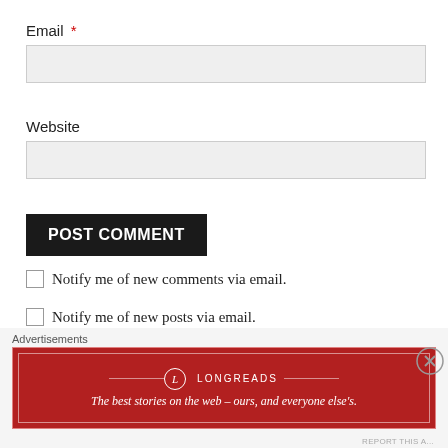Email *
Website
POST COMMENT
Notify me of new comments via email.
Notify me of new posts via email.
SEARCH IT!
Advertisements
[Figure (other): Longreads advertisement banner: red background with logo circle containing L, brand name LONGREADS in caps, and tagline 'The best stories on the web — ours, and everyone else's.']